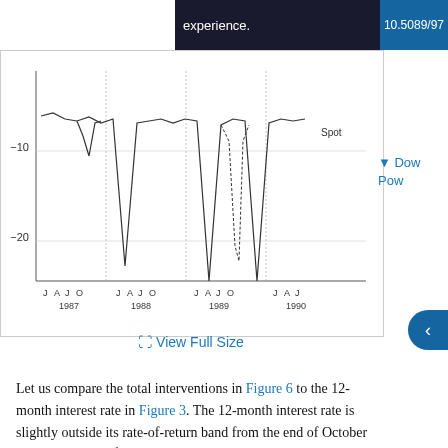experience.
10.5089/97
[Figure (continuous-plot): Partial line chart showing data from 1987 to 1990 with y-axis values including -10 and -20, x-axis labels J A J O J A J O J A J O J A J for years 1987, 1988, 1989, 1990. A 'Spot' label appears near the top right of the chart area.]
View Full Size
Let us compare the total interventions in Figure 6 to the 12-month interest rate in Figure 3. The 12-month interest rate is slightly outside its rate-of-return band from the end of October 1987 to the end of January 1988. During these months we do not see any large foreign exchange inflows in Figure 6; on the contrary we see some outflows. This lends some support to the interpretation that these months might have been a period with a lack of credibility of the target zone on a 12-month horizon. 10/ We also see no large inflows in August 1988 and October 1988, when the interest rate is at the edge of its rate-of-return band. The 12-